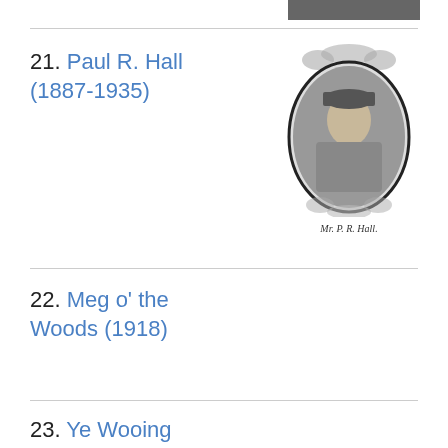[Figure (photo): Small dark photograph at top right, partially visible]
21. Paul R. Hall (1887-1935)
[Figure (photo): Oval portrait photograph of Mr. P. R. Hall in military uniform with decorative floral border]
Mr. P. R. Hall.
22. Meg o' the Woods (1918)
23. Ye Wooing of Peggy (1917)